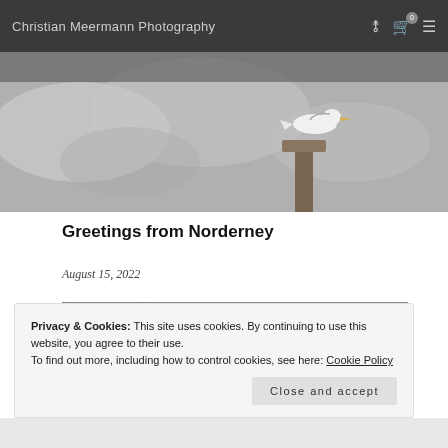Christian Meermann Photography
[Figure (photo): Black and white photograph of a seagull perched on a wooden post against a cloudy sky]
Greetings from Norderney
August 15, 2022
[Figure (photo): Black and white close-up macro photograph of a peacock butterfly wing showing eye-spot patterns]
Privacy & Cookies: This site uses cookies. By continuing to use this website, you agree to their use.
To find out more, including how to control cookies, see here: Cookie Policy
Close and accept